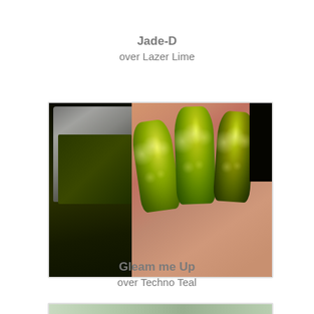Jade-D
over Lazer Lime
[Figure (photo): Close-up photograph of a hand holding a nail polish bottle, showing three fingers with shimmery yellow-green/olive glitter nail polish applied, with a dark background on the upper left.]
Gleam me Up
over Techno Teal
[Figure (photo): Partial view of another nail polish swatch photo, cropped at the bottom of the page.]